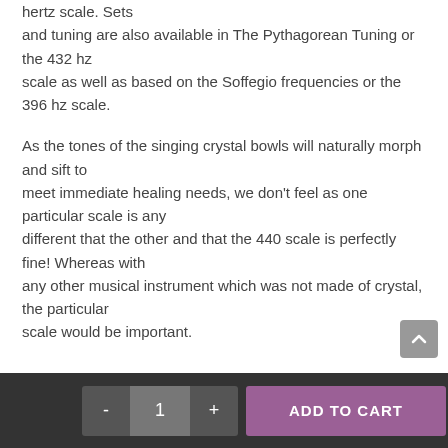hertz scale. Sets and tuning are also available in The Pythagorean Tuning or the 432 hz scale as well as based on the Soffegio frequencies or the 396 hz scale.

As the tones of the singing crystal bowls will naturally morph and sift to meet immediate healing needs, we don't feel as one particular scale is any different that the other and that the 440 scale is perfectly fine! Whereas with any other musical instrument which was not made of crystal, the particular scale would be important.